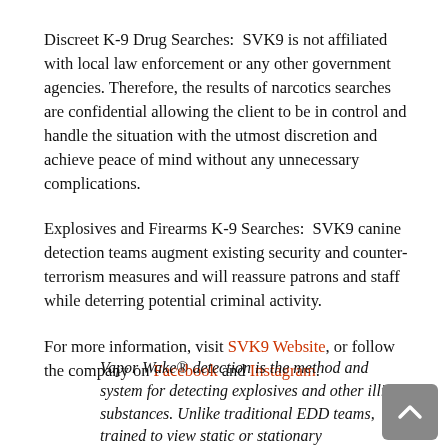Discreet K-9 Drug Searches:  SVK9 is not affiliated with local law enforcement or any other government agencies. Therefore, the results of narcotics searches are confidential allowing the client to be in control and handle the situation with the utmost discretion and achieve peace of mind without any unnecessary complications.
Explosives and Firearms K-9 Searches:  SVK9 canine detection teams augment existing security and counter-terrorism measures and will reassure patrons and staff while deterring potential criminal activity.
For more information, visit SVK9 Website, or follow the company on Facebook and Instagram.
Vapor Wake® detection is the method and system for detecting explosives and other illicit substances. Unlike traditional EDD teams, trained to view static or stationary